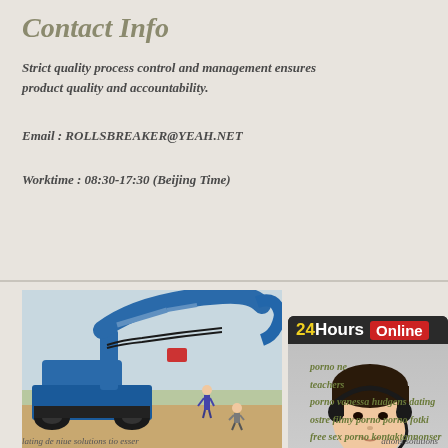Contact Info
Strict quality process control and management ensures product quality and accountability.
Email : ROLLSBREAKER@YEAH.NET
Worktime : 08:30-17:30 (Beijing Time)
[Figure (infographic): 24Hours Online chat box with a customer service representative wearing a headset, and a Click To Chat button]
[Figure (photo): Industrial machinery - a large blue hydraulic rock breaker arm on construction site with two workers nearby]
porno ne teachers porno vanessa hudgens dating ostre filmy porno porno fotki free sex porno kontaktannonser
lating de niue solutions tio esser ations solutions